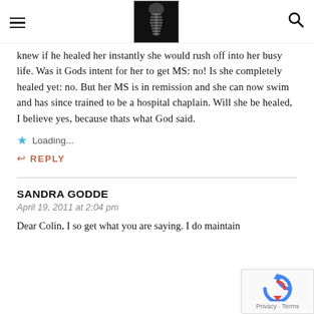[hamburger menu] [X-ray spine logo image] [search icon]
knew if he healed her instantly she would rush off into her busy life. Was it Gods intent for her to get MS: no! Is she completely healed yet: no. But her MS is in remission and she can now swim and has since trained to be a hospital chaplain. Will she be healed, I believe yes, because thats what God said.
Loading...
REPLY
SANDRA GODDE
April 19, 2011 at 2:04 pm
Dear Colin, I so get what you are saying. I do maintain